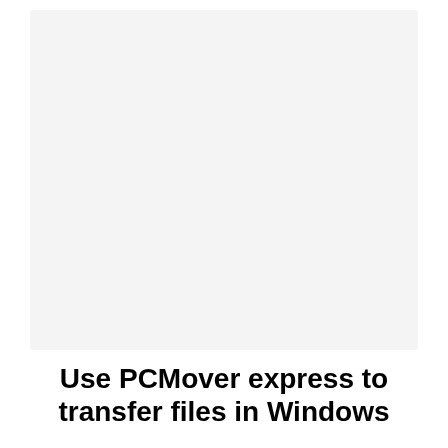[Figure (screenshot): A large light gray screenshot or image placeholder area]
Use PCMover express to transfer files in Windows